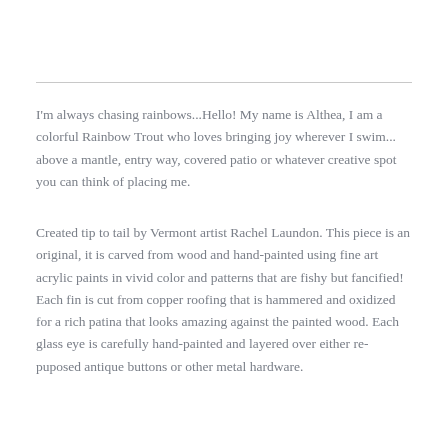I'm always chasing rainbows...Hello! My name is Althea, I am a colorful Rainbow Trout who loves bringing joy wherever I swim... above a mantle, entry way, covered patio or whatever creative spot you can think of placing me.
Created tip to tail by Vermont artist Rachel Laundon. This piece is an original, it is carved from wood and hand-painted using fine art acrylic paints in vivid color and patterns that are fishy but fancified! Each fin is cut from copper roofing that is hammered and oxidized for a rich patina that looks amazing against the painted wood. Each glass eye is carefully hand-painted and layered over either re-puposed antique buttons or other metal hardware.